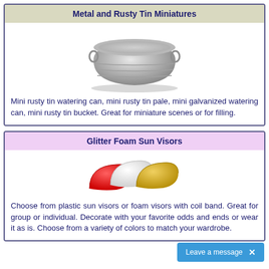Metal and Rusty Tin Miniatures
[Figure (photo): A small oval galvanized metal tin bucket/tub with handles on the sides.]
Mini rusty tin watering can, mini rusty tin pale, mini galvanized watering can, mini rusty tin bucket. Great for miniature scenes or for filling.
Glitter Foam Sun Visors
[Figure (photo): Three glitter foam sun visors shown as rounded visor shapes in red, white, and gold colors.]
Choose from plastic sun visors or foam visors with coil band. Great for group or individual. Decorate with your favorite odds and ends or wear it as is. Choose from a variety of colors to match your wardrobe.